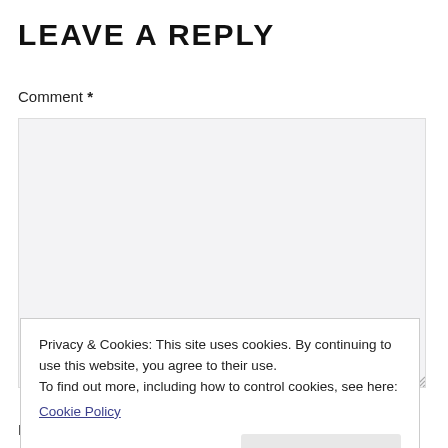LEAVE A REPLY
Comment *
[Figure (other): Large comment text area input box with light gray background and resize handle at bottom right]
Privacy & Cookies: This site uses cookies. By continuing to use this website, you agree to their use.
To find out more, including how to control cookies, see here:
Cookie Policy

Close and accept
Email *